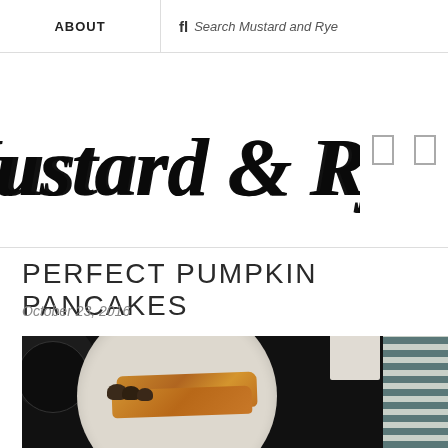ABOUT | fi Search Mustard and Rye
[Figure (logo): Mustard & Rye script logo in large cursive black lettering]
PERFECT PUMPKIN PANCAKES
October 23, 2016
[Figure (photo): Overhead dark food photo showing a white plate with pumpkin pancakes and mushrooms, a dark pan, a white cup and striped cloth napkin]